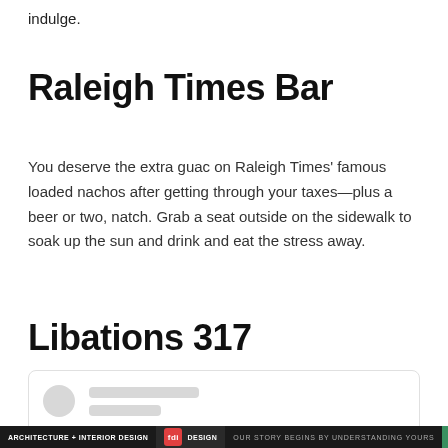indulge.
Raleigh Times Bar
You deserve the extra guac on Raleigh Times’ famous loaded nachos after getting through your taxes—plus a beer or two, natch. Grab a seat outside on the sidewalk to soak up the sun and drink and eat the stress away.
Libations 317
[Figure (other): A loading placeholder card with a circular avatar placeholder and two grey rectangular line placeholders]
ARCHITECTURE + INTERIOR DESIGN | [logo] DESIGN | OUR STORY BEGINS BY UNDERSTANDING YOURS | SEE MORE